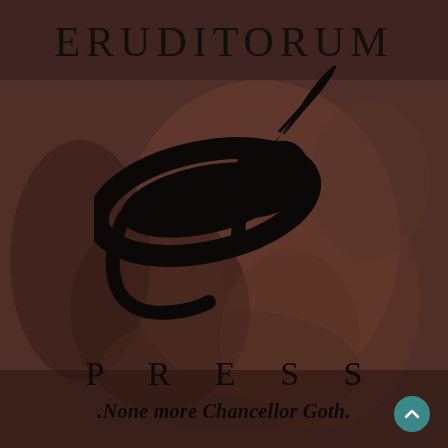[Figure (logo): Eruditorum Press logo page with dark reddish-brown painting background showing a crouching figure. Large 'EP' stylized calligraphic logo in black in center. Text 'ERUDITORUM' at top, 'PRESS' below logo, tagline '.None more Chancellor Goth.' at bottom. Teal scroll-up button in bottom right corner.]
ERUDITORUM
PRESS
.None more Chancellor Goth.